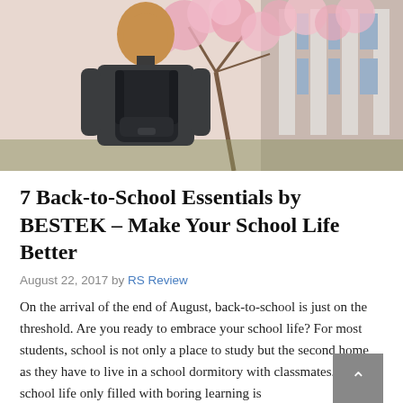[Figure (photo): A person with long blonde hair seen from behind, wearing a dark jacket and carrying a black backpack, standing in front of a building with pink blossoming trees.]
7 Back-to-School Essentials by BESTEK – Make Your School Life Better
August 22, 2017 by RS Review
On the arrival of the end of August, back-to-school is just on the threshold. Are you ready to embrace your school life? For most students, school is not only a place to study but the second home as they have to live in a school dormitory with classmates. But a school life only filled with boring learning is